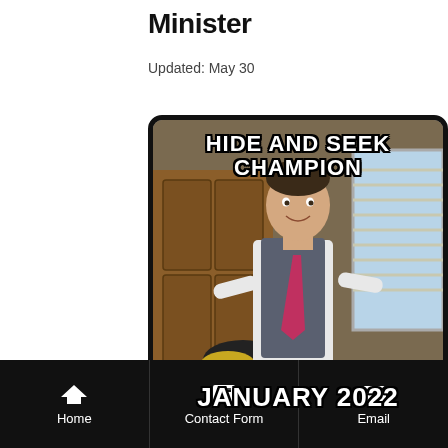Minister
Updated: May 30
[Figure (photo): Meme image of a politician smiling in an office, holding a trophy. Top text: 'HIDE AND SEEK CHAMPION'. Bottom text: 'JANUARY 2022'.]
Home | Contact Form | Email